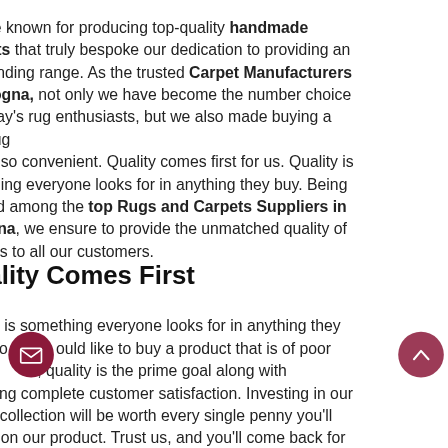re known for producing top-quality handmade ets that truly bespoke our dedication to providing an anding range. As the trusted Carpet Manufacturers logna, not only we have become the number choice day's rug enthusiasts, but we also made buying a rug e so convenient. Quality comes first for us. Quality is thing everyone looks for in anything they buy. Being ed among the top Rugs and Carpets Suppliers in gna, we ensure to provide the unmatched quality of cts to all our customers.
ality Comes First
ty is something everyone looks for in anything they No ould like to buy a product that is of poor y. s, quality is the prime goal along with ving complete customer satisfaction. Investing in our y collection will be worth every single penny you'll d on our product. Trust us, and you'll come back for
[Figure (other): Dark red circular email button with envelope icon]
[Figure (other): Dark red circular scroll-up button with upward chevron icon]